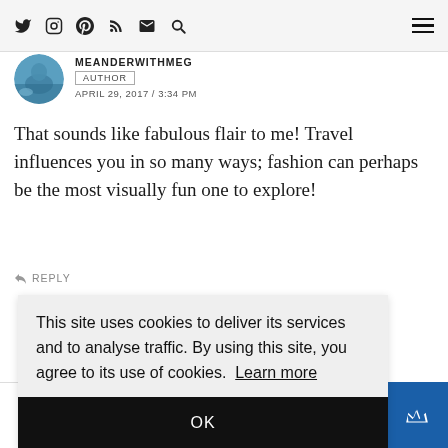Navigation bar with social icons (Twitter, Instagram, Pinterest, RSS, Mail, Search) and hamburger menu
MEANDERWITHMEG
AUTHOR
APRIL 29, 2017 / 3:34 PM
That sounds like fabulous flair to me! Travel influences you in so many ways; fashion can perhaps be the most visually fun one to explore!
REPLY
This site uses cookies to deliver its services and to analyse traffic. By using this site, you agree to its use of cookies. Learn more
OK
Shares | Facebook | Twitter | Pinterest | Email | WhatsApp | Other